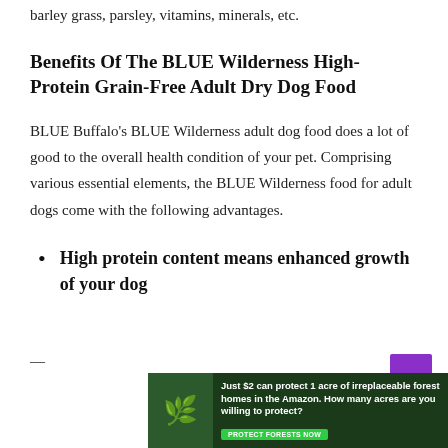barley grass, parsley, vitamins, minerals, etc.
Benefits Of The BLUE Wilderness High-Protein Grain-Free Adult Dry Dog Food
BLUE Buffalo's BLUE Wilderness adult dog food does a lot of good to the overall health condition of your pet. Comprising various essential elements, the BLUE Wilderness food for adult dogs come with the following advantages.
High protein content means enhanced growth of your dog
[Figure (other): Advertisement banner: Just $2 can protect 1 acre of irreplaceable forest homes in the Amazon. How many acres are you willing to protect? With a green PROTECT FORESTS NOW button and forest background image.]